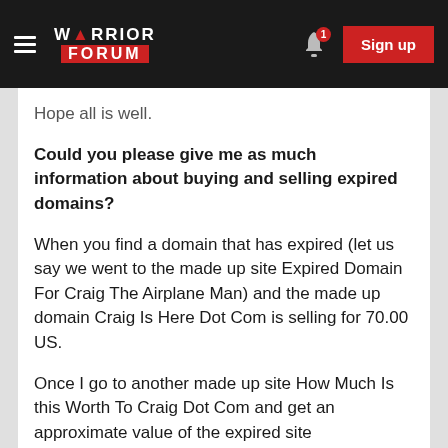Warrior Forum | Sign up
Hope all is well.
Could you please give me as much information about buying and selling expired domains?
When you find a domain that has expired (let us say we went to the made up site Expired Domain For Craig The Airplane Man) and the made up domain Craig Is Here Dot Com is selling for 70.00 US.
Once I go to another made up site How Much Is this Worth To Craig Dot Com and get an approximate value of the expired site
1) When I purchase the expired domain, what